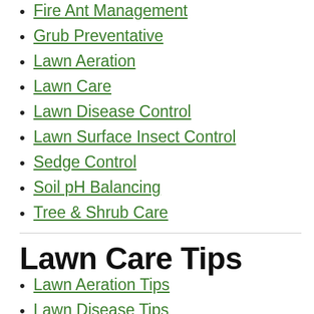Fire Ant Management
Grub Preventative
Lawn Aeration
Lawn Care
Lawn Disease Control
Lawn Surface Insect Control
Sedge Control
Soil pH Balancing
Tree & Shrub Care
Lawn Care Tips
Lawn Aeration Tips
Lawn Disease Tips
Lawn FAQs